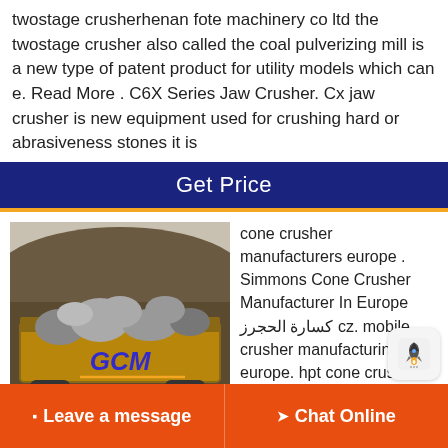twostage crusherhenan fote machinery co ltd the twostage crusher also called the coal pulverizing mill is a new type of patent product for utility models which can e. Read More . C6X Series Jaw Crusher. Cx jaw crusher is new equipment used for crushing hard or abrasiveness stones it is
Get Price
[Figure (photo): Photo of a dump truck loaded with crushed rocks/stones at a quarry, with GCM logo overlaid]
cone crusher manufacturers europe . Simmons Cone Crusher Manufacturer In Europe كسارة الحجرز cz. mobile crusher manufacturing europe. hpt cone crusher
base on the latest technology and decades of years' producing experience, skd designed the hpt series cone
Leave a message
Chat Online